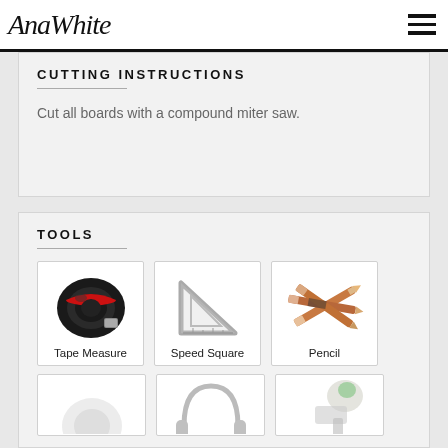AnaWhite
CUTTING INSTRUCTIONS
Cut all boards with a compound miter saw.
TOOLS
[Figure (photo): Tape Measure product image]
Tape Measure
[Figure (photo): Speed Square product image]
Speed Square
[Figure (photo): Pencil product image]
Pencil
[Figure (photo): Partially visible tool images in bottom row]